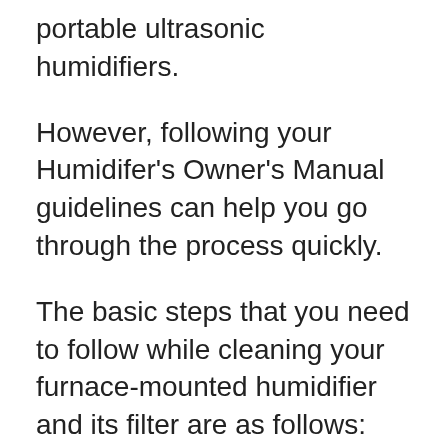portable ultrasonic humidifiers.
However, following your Humidifer’s Owner’s Manual guidelines can help you go through the process quickly.
The basic steps that you need to follow while cleaning your furnace-mounted humidifier and its filter are as follows:
1. Switch off the power supply and unplug the device.